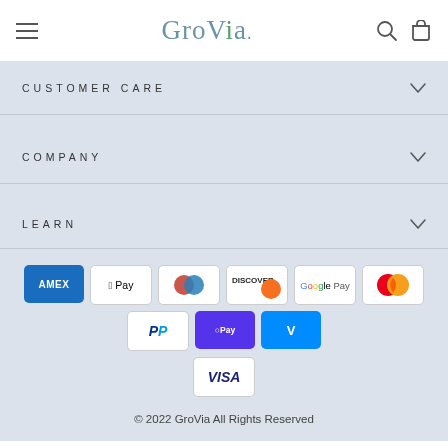GroVia
CUSTOMER CARE
COMPANY
LEARN
[Figure (infographic): Payment method icons: American Express, Apple Pay, Diners Club, Discover, Google Pay, Mastercard, PayPal, Shop Pay, Venmo, Visa]
© 2022 GroVia All Rights Reserved